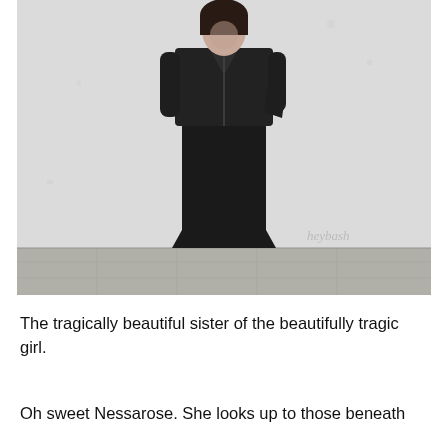[Figure (photo): A person wearing a black maxi dress and a black leather jacket, standing against a light grey/white textured wall. The figure is shown full-length. A watermark 'heybash' appears in the lower right of the image.]
The tragically beautiful sister of the beautifully tragic girl.
Oh sweet Nessarose. She looks up to those beneath